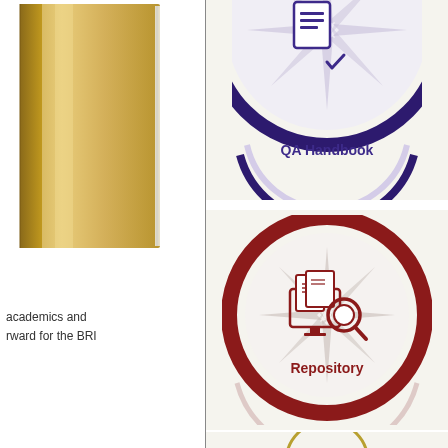[Figure (illustration): Gold/tan colored book cover, partially visible on left side of page]
academics and rward for the BRI
[Figure (logo): QA Handbook circular badge logo with purple border and compass/star background, partially cropped at top]
[Figure (logo): Repository circular badge logo with dark red/maroon border, showing documents and magnifying glass icon on computer screen, with compass/star background]